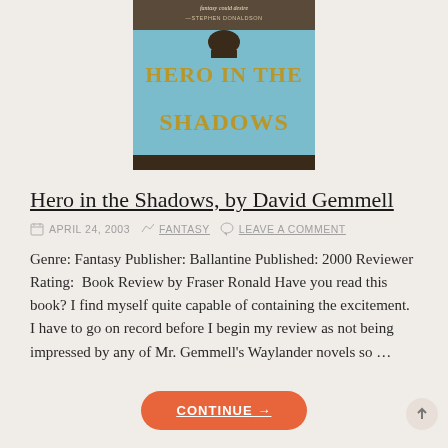[Figure (illustration): Book cover for 'Hero in the Shadows' by David Gemmell, showing the title in large gold letters on a teal/blue background with a figure silhouette, and a blurb from Stephen Donaldson at the top reading 'fantasy could desire']
Hero in the Shadows, by David Gemmell
APRIL 24, 2003   FANTASY   LEAVE A COMMENT
Genre: Fantasy Publisher: Ballantine Published: 2000 Reviewer Rating:  Book Review by Fraser Ronald Have you read this book? I find myself quite capable of containing the excitement. I have to go on record before I begin my review as not being impressed by any of Mr. Gemmell's Waylander novels so …
CONTINUE →